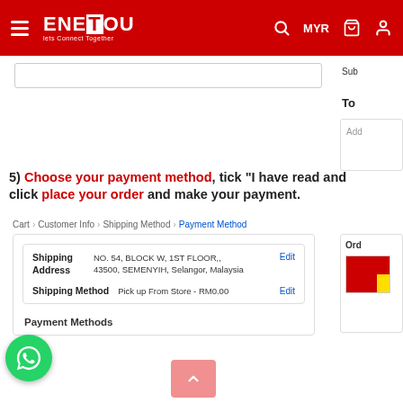[Figure (screenshot): Enetou e-commerce website header with red background, hamburger menu, logo, search icon, MYR currency selector, cart icon, and user icon]
5) Choose your payment method, tick "I have read and click place your order and make your payment.
Cart > Customer Info > Shipping Method > Payment Method
| Field | Value | Action |
| --- | --- | --- |
| Shipping Address | NO. 54, BLOCK W, 1ST FLOOR,, 43500, SEMENYIH, Selangor, Malaysia | Edit |
| Shipping Method | Pick up From Store - RM0.00 | Edit |
Payment Methods